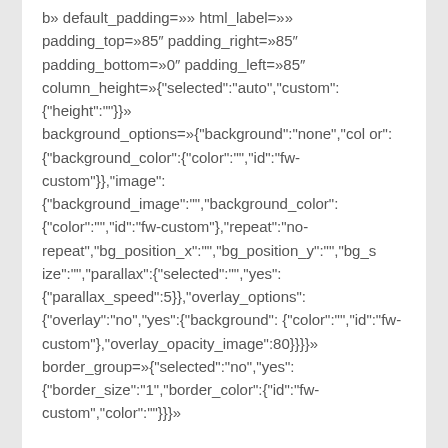b» default_padding=»» html_label=»» padding_top=»85″ padding_right=»85″ padding_bottom=»0″ padding_left=»85″ column_height=»{"selected":"auto","custom":{"height":""}}» background_options=»{"background":"none","color":{"background_color":{"color":"","id":"fw-custom"}},"image":{"background_image":"","background_color":{"color":"","id":"fw-custom"},"repeat":"no-repeat","bg_position_x":"","bg_position_y":"","bg_size":"","parallax":{"selected":"","yes":{"parallax_speed":5}},"overlay_options":{"overlay":"no","yes":{"background":{"color":"","id":"fw-custom"},"overlay_opacity_image":80}}}}» border_group=»{"selected":"no","yes":{"border_size":"1","border_color":{"id":"fw-custom","color":""}}}»